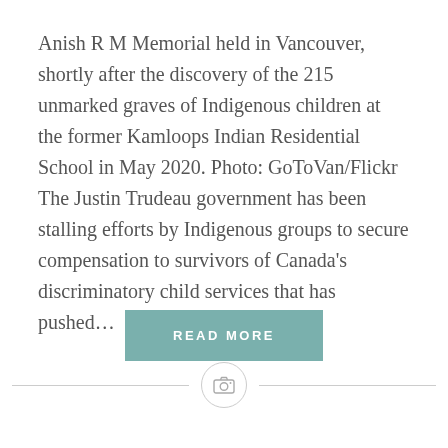Anish R M Memorial held in Vancouver, shortly after the discovery of the 215 unmarked graves of Indigenous children at the former Kamloops Indian Residential School in May 2020. Photo: GoToVan/Flickr The Justin Trudeau government has been stalling efforts by Indigenous groups to secure compensation to survivors of Canada's discriminatory child services that has pushed...
[Figure (other): READ MORE button — teal/muted green rectangle with white uppercase letter-spaced text]
[Figure (other): Horizontal divider line with a circular camera icon centered on it]